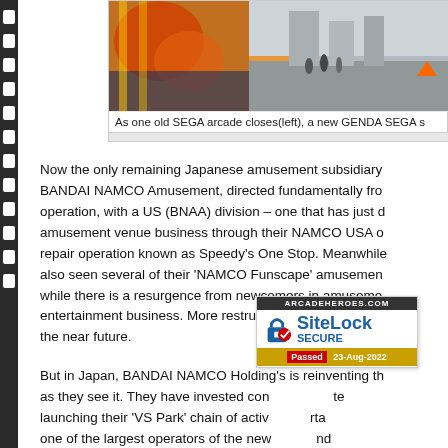[Figure (photo): Street scene photo showing a SEGA arcade with colorful graffiti art on barriers on the left and a street scene on the right]
As one old SEGA arcade closes(left), a new GENDA SEGA s
Now the only remaining Japanese amusement subsidiary BANDAI NAMCO Amusement, directed fundamentally from operation, with a US (BNAA) division – one that has just d amusement venue business through their NAMCO USA o repair operation known as Speedy's One Stop. Meanwhile also seen several of their 'NAMCO Funscape' amusement while there is a resurgence from newcomers in amuseme entertainment business. More restructuring of the Japanes the near future.
But in Japan, BANDAI NAMCO Holding's is reinventing th as they see it. They have invested con te launching their 'VS Park' chain of activ rta one of the largest operators of the new nd well as rebranded amusement sites – all this in an effort to